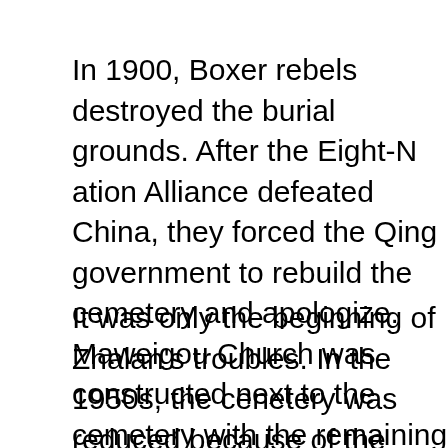In 1900, Boxer rebels destroyed the burial grounds. After the Eight-Nation Alliance defeated China, they forced the Qing government to rebuild the cemetery and apologize. Maweigou Church was constructed next to the cemetery with the remaining tombstones of other missionaries mounted in the wall.
It was only the beginning of Zhalan's troubles. In the 1950s, the cemetery was reduced because of the city's expansion. The original plot of land was donated to a city committee (hence the shared grounds with the CPC School), but the tombs of Ricci and Schall remained in place.
In 1966, the Cultural Revolution sought to eradicate all things either old or related to foreigners. The missionaries' cemetery was something the Red Guard targeted. The tombstones were knocked over and buried deep in the earth to condemn the so-called foreign devils from seeing the daylight for eternity."
After Deng Xiaoping came to power, he ordered the cemetery rebuilt by the Beijing government, creating the version of the burial plots visible at Zhalan today.
"Lots of foreign visitors come here every year, and I believe most of them... a retired employee from the school told Lifestyle. Politicians from the...